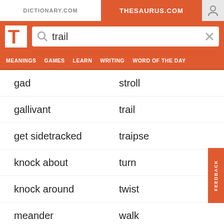DICTIONARY.COM | THESAURUS.COM
[Figure (screenshot): Thesaurus.com website header with logo and search bar showing 'trail']
gad | stroll
gallivant | trail
get sidetracked | traipse
knock about | turn
knock around | twist
meander | walk
perambulate | wind
percolate | zigzag